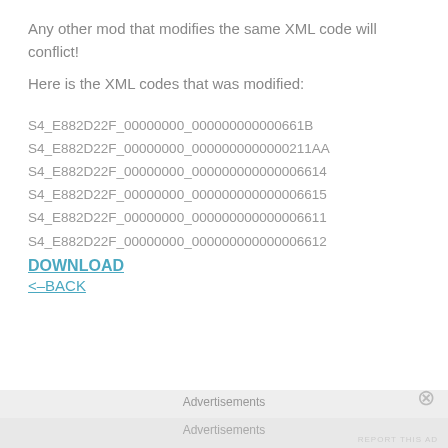Any other mod that modifies the same XML code will conflict!
Here is the XML codes that was modified:
S4_E882D22F_00000000_000000000000661B
S4_E882D22F_00000000_0000000000000211AA
S4_E882D22F_00000000_000000000000006614
S4_E882D22F_00000000_000000000000006615
S4_E882D22F_00000000_000000000000006611
S4_E882D22F_00000000_000000000000006612
DOWNLOAD
<--BACK
Advertisements
Advertisements